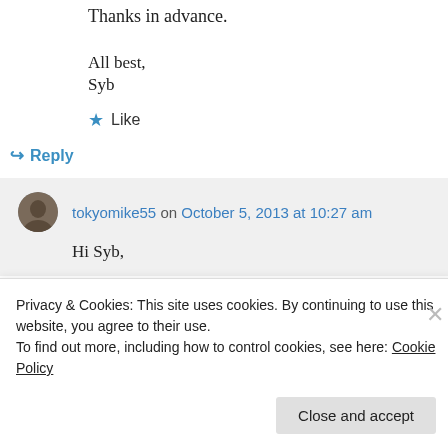Thanks in advance.
All best,
Syb
★ Like
↪ Reply
tokyomike55 on October 5, 2013 at 10:27 am
Hi Syb,
Privacy & Cookies: This site uses cookies. By continuing to use this website, you agree to their use.
To find out more, including how to control cookies, see here: Cookie Policy
Close and accept